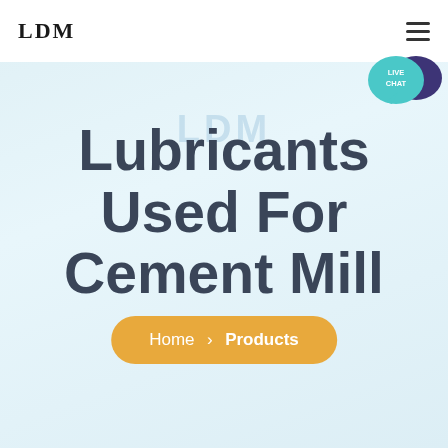LDM
[Figure (illustration): Live Chat speech bubble icon in teal/cyan and dark purple, positioned in upper right corner of the page]
Lubricants Used For Cement Mill
Home > Products